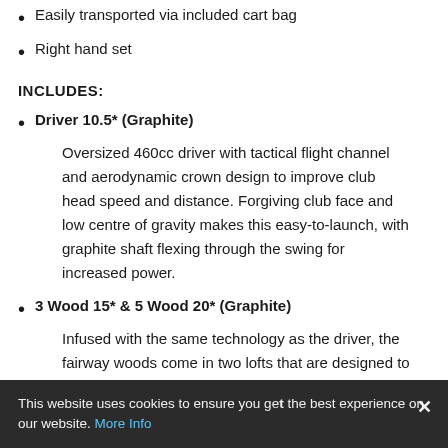Easily transported via included cart bag
Right hand set
INCLUDES:
Driver 10.5* (Graphite) — Oversized 460cc driver with tactical flight channel and aerodynamic crown design to improve club head speed and distance. Forgiving club face and low centre of gravity makes this easy-to-launch, with graphite shaft flexing through the swing for increased power.
3 Wood 15* & 5 Wood 20* (Graphite) — Infused with the same technology as the driver, the fairway woods come in two lofts that are designed to carry the ball effectively in the fairway or rough. Graphite shaft
This website uses cookies to ensure you get the best experience on our website. More Info